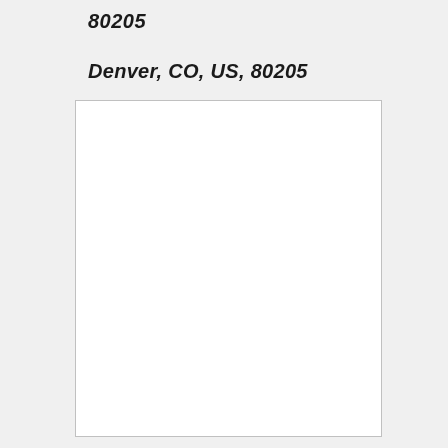80205
Denver, CO, US, 80205
[Figure (map): Empty white rectangular map area with a light gray border, representing the geographic area of Denver, CO, US, 80205]